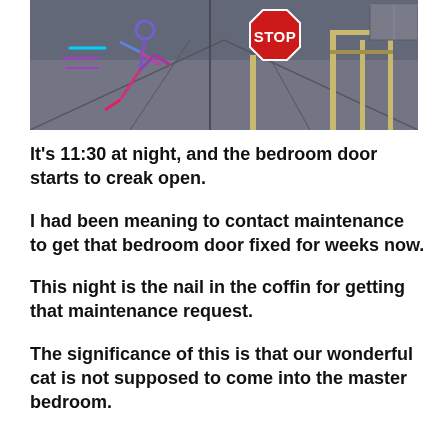[Figure (illustration): Illustration of a running figure (neon blue/purple/pink) on a dark gray street scene with a red stop sign in the center and posts/barriers in the background.]
It's 11:30 at night, and the bedroom door starts to creak open.
I had been meaning to contact maintenance to get that bedroom door fixed for weeks now.
This night is the nail in the coffin for getting that maintenance request.
The significance of this is that our wonderful cat is not supposed to come into the master bedroom.